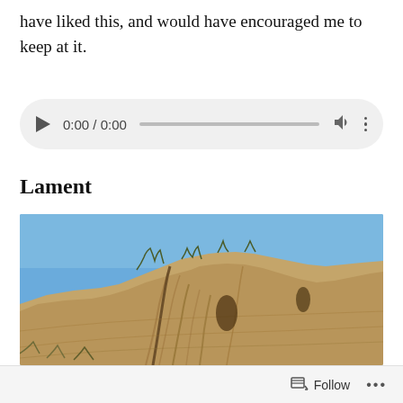have liked this, and would have encouraged me to keep at it.
[Figure (other): Audio player widget showing 0:00 / 0:00 with play button, progress bar, volume icon, and more options icon]
Lament
[Figure (photo): Photograph of a rocky cliff face with layered sedimentary rock formations under a clear blue sky, with sparse dry shrubs at the top and base of the cliff]
Follow ...